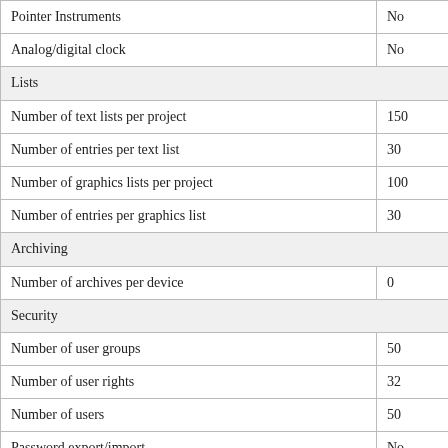| Feature | Value |
| --- | --- |
| Pointer Instruments | No |
| Analog/digital clock | No |
| Lists |  |
| Number of text lists per project | 150 |
| Number of entries per text list | 30 |
| Number of graphics lists per project | 100 |
| Number of entries per graphics list | 30 |
| Archiving |  |
| Number of archives per device | 0 |
| Security |  |
| Number of user groups | 50 |
| Number of user rights | 32 |
| Number of users | 50 |
| Password export/import | No |
| SIMATIC L... | No |